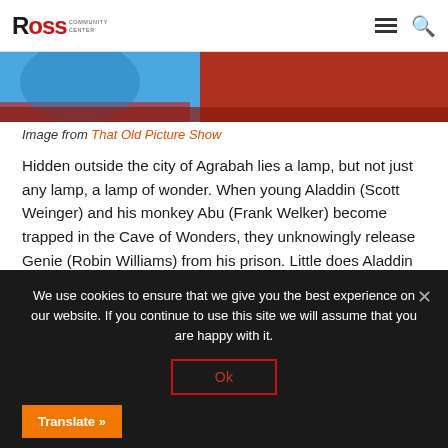Ross Community Center — navigation header with logo, hamburger menu, and search icon
[Figure (photo): Partial image showing blue and red tones, appearing to be a screenshot of a movie scene from Aladdin]
Image from That Old Picture Show
Hidden outside the city of Agrabah lies a lamp, but not just any lamp, a lamp of wonder. When young Aladdin (Scott Weinger) and his monkey Abu (Frank Welker) become trapped in the Cave of Wonders, they unknowingly release Genie (Robin Williams) from his prison. Little does Aladdin know, there's more to royalty than fancy palaces and servants at your beckoned call.
We use cookies to ensure that we give you the best experience on our website. If you continue to use this site we will assume that you are happy with it.
Ok
Translate »